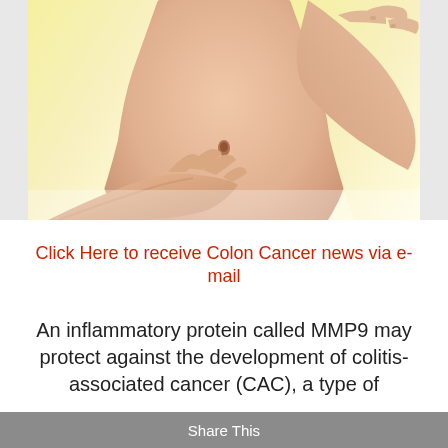[Figure (photo): Close-up photo of a person's bare midsection/abdomen area with hands on either side, on a pale yellow-white background]
Click Here to receive Colon Cancer news via e-mail
An inflammatory protein called MMP9 may protect against the development of colitis-associated cancer (CAC), a type of
Share This